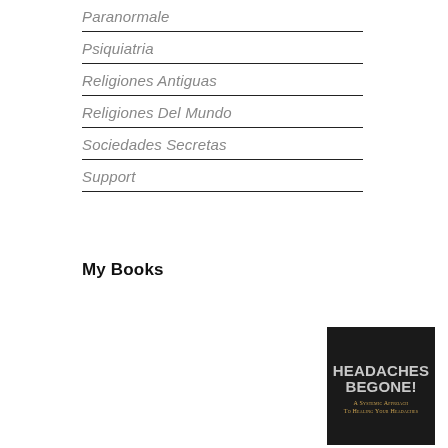Paranormale
Psiquiatria
Religiones Antiguas
Religiones Del Mundo
Sociedades Secretas
Support
My Books
[Figure (illustration): Book cover for 'Headaches Begone! A Systemic Approach To Healing Your Headaches' with dark background and gold subtitle text]